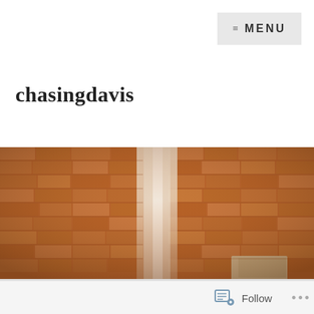≡ MENU
chasingdavis
[Figure (photo): Interior view of an ancient brick dome or vault ceiling with warm terracotta-colored bricks arranged in a herringbone pattern. A shaft of hazy white light streams down the center. At the bottom right, a pale stone or concrete block is visible. The image has a warm, amber tone throughout.]
Follow ...